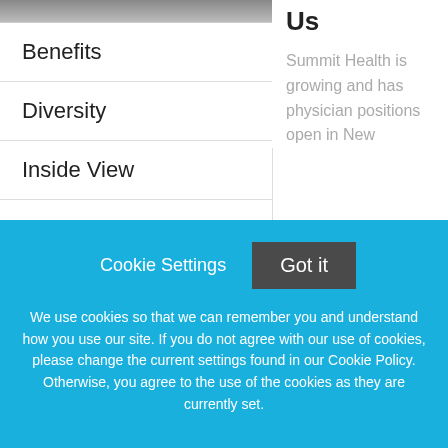Benefits
Diversity
Inside View
News
Video
Vision
Us
Summit Health is growing and has physician positions open in New
Cookie Settings
Got it
We use cookies so that we can remember you and understand how you use our site. If you do not agree with our use of cookies, please change the current settings found in our Cookie Policy. Otherwise, you agree to the use of the cookies as they are currently set.